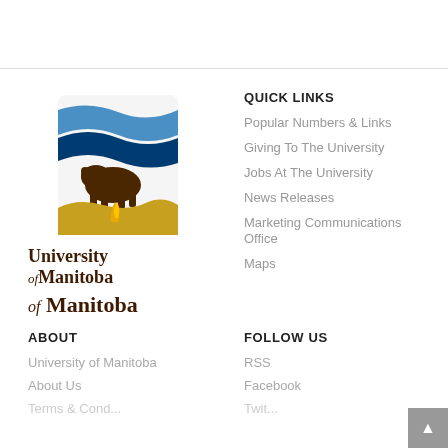[Figure (logo): University of Manitoba shield logo with bison, blue banners, and gold flame, with text 'University of Manitoba' below]
QUICK LINKS
Popular Numbers & Links
Giving To The University
Jobs At The University
News Releases
Marketing Communications Office
Maps
ABOUT
University of Manitoba
About Us
FOLLOW US
RSS
Facebook